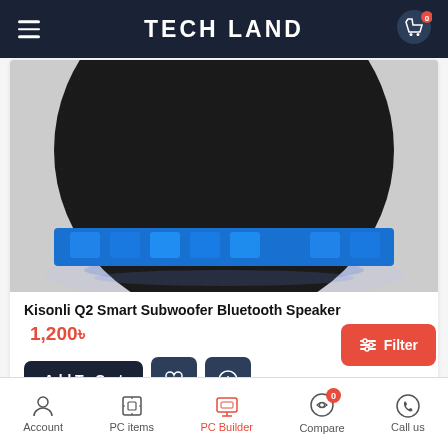TECH LAND
[Figure (photo): Kisonli Q2 Smart Subwoofer Bluetooth Speaker – black spherical speaker with blue LED accent base and reflection on white surface]
Kisonli Q2 Smart Subwoofer Bluetooth Speaker
1,200৳
Add To Cart
Filter
Account | PC items | PC Builder | Compare | Call us